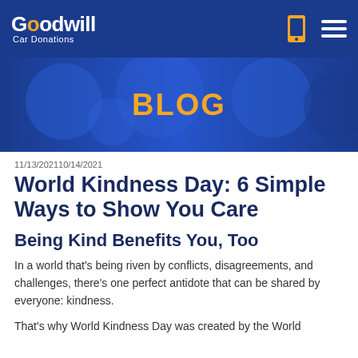Goodwill Car Donations
BLOG
11/13/202110/14/2021
World Kindness Day: 6 Simple Ways to Show You Care
Being Kind Benefits You, Too
In a world that’s being riven by conflicts, disagreements, and challenges, there’s one perfect antidote that can be shared by everyone: kindness.
That’s why World Kindness Day was created by the World